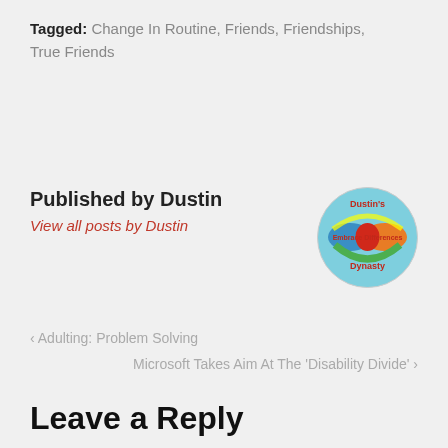Tagged: Change In Routine, Friends, Friendships, True Friends
Published by Dustin
View all posts by Dustin
[Figure (logo): Circular logo for Dustin's Embrace Differences Dynasty with colorful infinity symbol]
< Adulting: Problem Solving
Microsoft Takes Aim At The 'Disability Divide' >
Leave a Reply